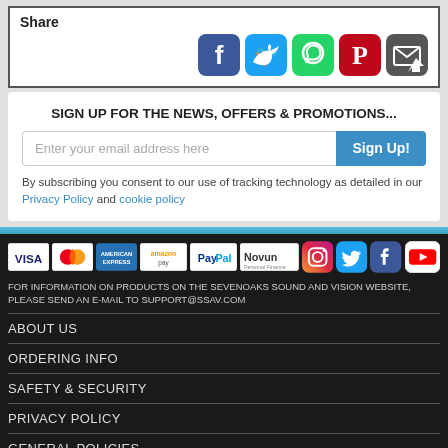Share
[Figure (other): Social share icons: Facebook, Twitter, WhatsApp, Pinterest, Email]
SIGN UP FOR THE NEWS, OFFERS & PROMOTIONS...
Enter your email address here | Sign Up!
By subscribing you consent to our use of tracking technology as detailed in our Privacy Policy and cookie policy
[Figure (other): Payment method logos: VISA, MasterCard, American Express, Amazon Pay, PayPal, Novum Personal Finance, Instagram, Twitter, Facebook, YouTube]
FOR INFORMATION ON PRODUCTS ON THE SEVENOAKS SOUND AND VISION WEBSITE, PLEASE SEND AN E-MAIL TO SUPPORT@SSAV.COM
ABOUT US
ORDERING INFO
SAFETY & SECURITY
PRIVACY POLICY
GENERAL POLICIES